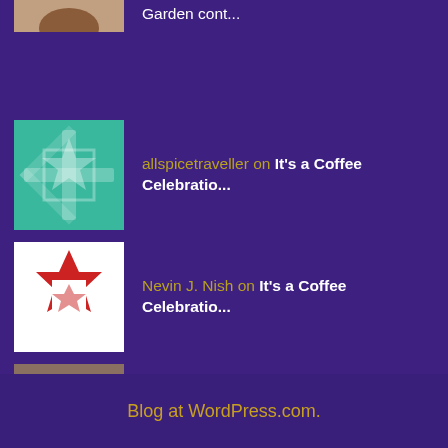Garden cont...
allspicetraveller on It's a Coffee Celebratio...
Nevin J. Nish on It's a Coffee Celebratio...
C. Sergeant on Cook It How You Like It
Juice on Cook It How You Like It
Blog at WordPress.com.